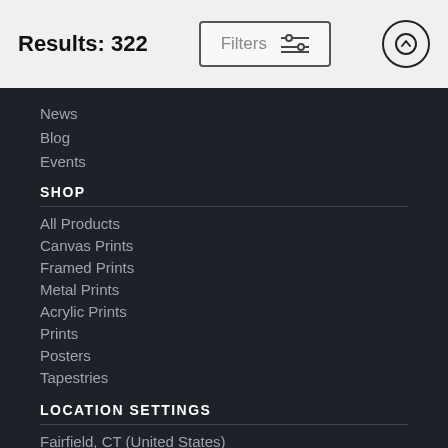Results: 322
Filters
News
Blog
Events
SHOP
All Products
Canvas Prints
Framed Prints
Metal Prints
Acrylic Prints
Prints
Posters
Tapestries
LOCATION SETTINGS
Fairfield, CT (United States)
Currency: USD ($)